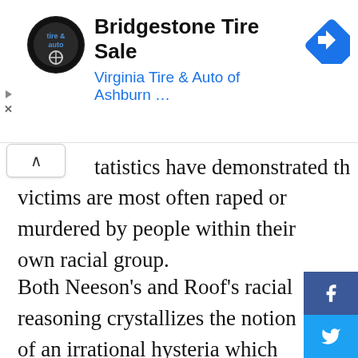[Figure (screenshot): Advertisement banner for Bridgestone Tire Sale by Virginia Tire & Auto of Ashburn with logo and navigation icon]
tatistics have demonstrated that victims are most often raped or murdered by people within their own racial group.
Both Neeson's and Roof's racial reasoning crystallizes the notion of an irrational hysteria which fuels racism: white paranoia. This collective dread of white people who fear that the browning of American society will somehow diminish their privilege and terminate their access to resources fuels
[Figure (screenshot): Social media sidebar buttons: Facebook, Twitter, Instagram, YouTube]